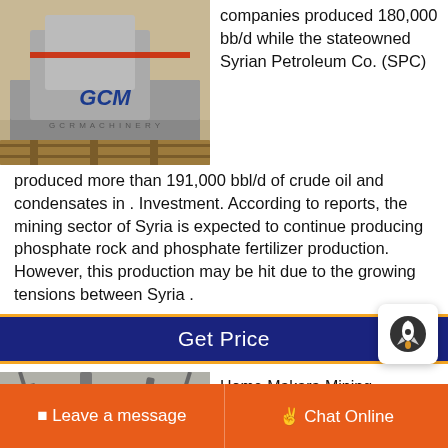[Figure (photo): Industrial machinery with GCM / GCR Machinery branding, yellow/red equipment on wooden platform in a factory setting]
companies produced 180,000 bb/d while the stateowned Syrian Petroleum Co. (SPC) produced more than 191,000 bbl/d of crude oil and condensates in . Investment. According to reports, the mining sector of Syria is expected to continue producing phosphate rock and phosphate fertilizer production. However, this production may be hit due to the growing tensions between Syria .
Get Price
[Figure (photo): Industrial mining or processing equipment with pipes, hoppers and a blue container in an industrial setting]
Home Makara Mining "Success Breeds Suc – Makara Mining Com mineral exploration
Leave a message   Chat Online